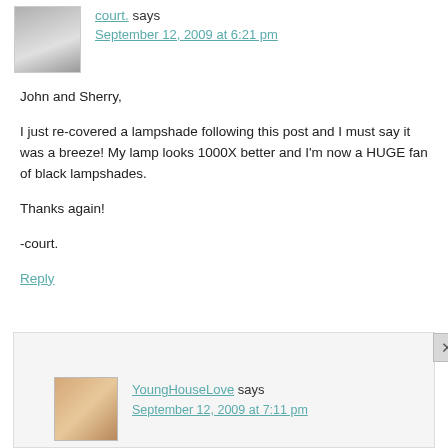[Figure (photo): Black and white avatar photo of commenter 'court.' — woman with light hair]
court. says
September 12, 2009 at 6:21 pm
John and Sherry,

I just re-covered a lampshade following this post and I must say it was a breeze! My lamp looks 1000X better and I'm now a HUGE fan of black lampshades.

Thanks again!

-court.
Reply
[Figure (photo): Color avatar photo of commenter 'YoungHouseLove']
YoungHouseLove says
September 12, 2009 at 7:11 pm